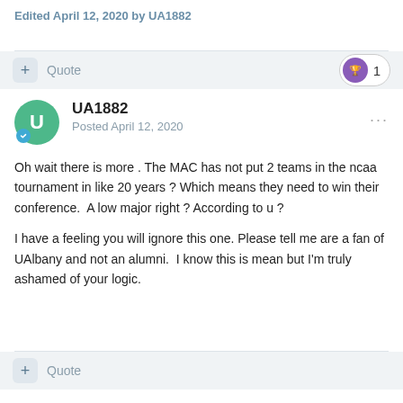Edited April 12, 2020 by UA1882
Quote
UA1882
Posted April 12, 2020
Oh wait there is more . The MAC has not put 2 teams in the ncaa tournament in like 20 years ? Which means they need to win their conference.  A low major right ? According to u ?
I have a feeling you will ignore this one. Please tell me are a fan of UAlbany and not an alumni.  I know this is mean but I'm truly ashamed of your logic.
Quote